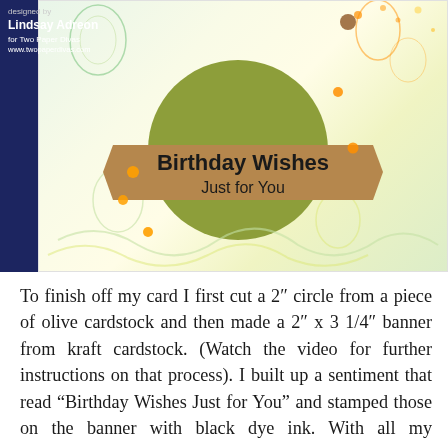[Figure (photo): Photo of a handmade birthday card with olive green circle, kraft cardstock banner reading 'Birthday Wishes Just for You' in black ink, on a watercolor-stamped background with green and yellow tones. Dark navy blue background visible on the left side of the photo. Designer credit reads 'Lindsay Adreon for Two Paper Divas www.twopaperdivas.com' in the top left corner.]
To finish off my card I first cut a 2" circle from a piece of olive cardstock and then made a 2" x 3 1/4" banner from kraft cardstock. (Watch the video for further instructions on that process). I built up a sentiment that read "Birthday Wishes Just for You" and stamped those on the banner with black dye ink. With all my components done I could put the complete card together by adhering the watercolor panel to a 4" x 4" top folding card base, then